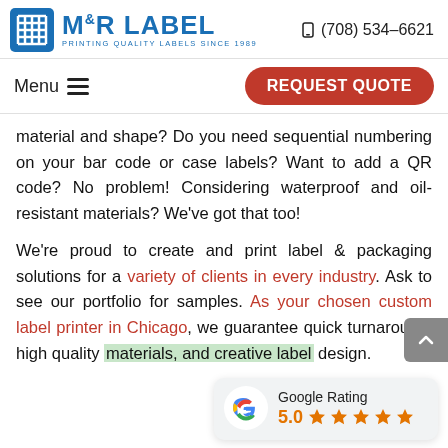M&R LABEL — PRINTING QUALITY LABELS SINCE 1989 | (708) 534-6621
Menu
REQUEST QUOTE
material and shape? Do you need sequential numbering on your bar code or case labels? Want to add a QR code? No problem! Considering waterproof and oil-resistant materials? We've got that too!
We're proud to create and print label & packaging solutions for a variety of clients in every industry. Ask to see our portfolio for samples. As your chosen custom label printer in Chicago, we guarantee quick turnaround, high quality materials, and creative label design.
[Figure (logo): Google Rating widget showing 5.0 stars]